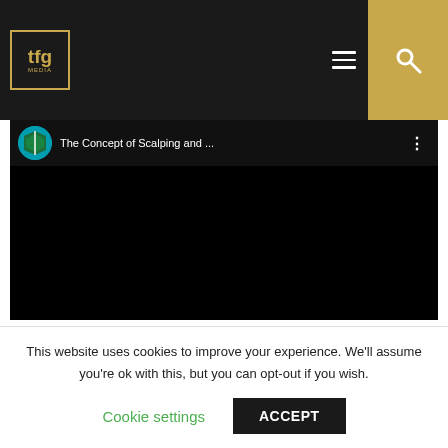[Figure (screenshot): TFG website navigation bar with logo, hamburger menu, and search icon on dark background]
[Figure (screenshot): Embedded YouTube video player showing 'The Concept of Scalping and ...' with channel icon and black video area]
Interesting study and vids explaining Scalper
This website uses cookies to improve your experience. We'll assume you're ok with this, but you can opt-out if you wish.
Cookie settings   ACCEPT